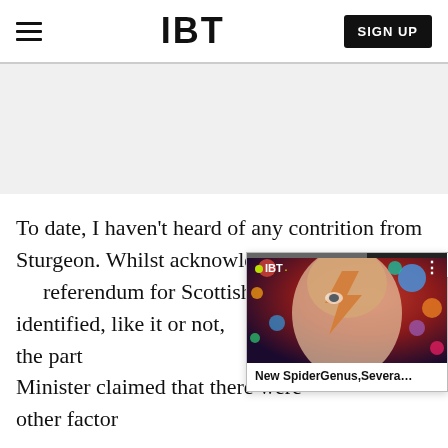IBT  SIGN UP
[Figure (other): Gray advertisement banner placeholder area]
To date, I haven't heard of any contrition from Sturgeon. Whilst acknowledging that the referendum for Scottish Independence so identified, like it or not, this was a factor in the party losing so many of its seats, the First Minister claimed that there were other factors, which she was still reflecting...
[Figure (screenshot): Video popup overlay showing a David Bowie-style artwork with planets on a red/purple background. IBT logo with green dot in top-left, three-dot menu in top-right, progress bar at top. Caption reads: New SpiderGenus,Severa...]